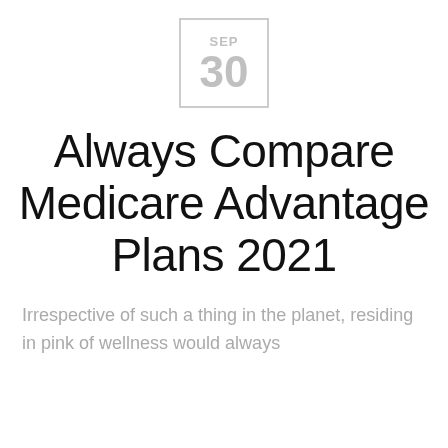[Figure (illustration): Calendar icon showing SEP 30 — a square border with 'SEP' in small caps at top and '30' in large gray numerals below]
Always Compare Medicare Advantage Plans 2021
Irrespective of such a thing in the planet, residing in pink of wellness would always